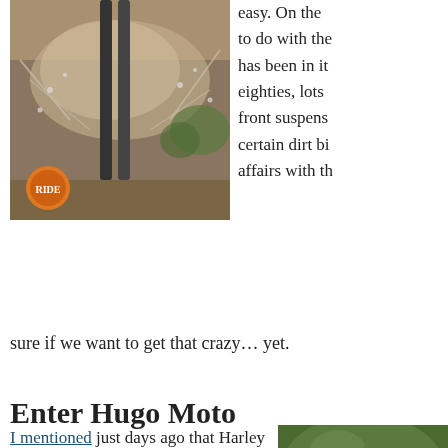[Figure (photo): Motorcycle riding through water/mud splash with orange logo badge in lower left corner of photo]
easy. On the to do with the has been in it eighties, lots front suspens certain dirt bi affairs with th
sure if we want to get that crazy… yet.
Enter Hugo Moto
I mentioned just days ago that Harley is missing something spec like Hugo Moto was reading my mind. In actuality, I caught wind of Hugo Moto's Sportster kit early last year. The idea of building a Dirtster was still a bit of a pipe dream at that point, but when it came time to talk turkey, it
[Figure (photo): Photo of green foliage/trees, partially visible on right side]